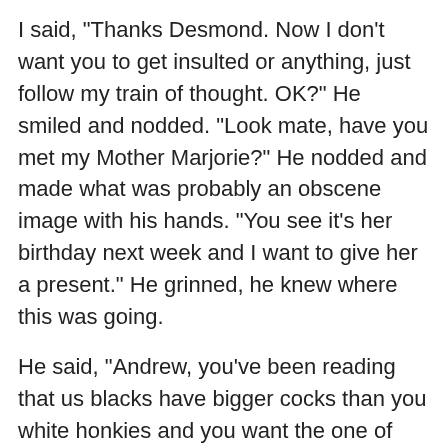I said, "Thanks Desmond. Now I don't want you to get insulted or anything, just follow my train of thought. OK?" He smiled and nodded. "Look mate, have you met my Mother Marjorie?" He nodded and made what was probably an obscene image with his hands. "You see it's her birthday next week and I want to give her a present." He grinned, he knew where this was going.
He said, "Andrew, you've been reading that us blacks have bigger cocks than you white honkies and you want the one of our brothers with the biggest cock to fuck your Mother. Right?"
I said, "Spot on Des, no wonder you're a heavy at the Bank. We all know where your brains are!"
"Andrew, we had Marjorie around here last week sniffing around and feeling our muscles and the brothers and I had a pretty good idea what she was